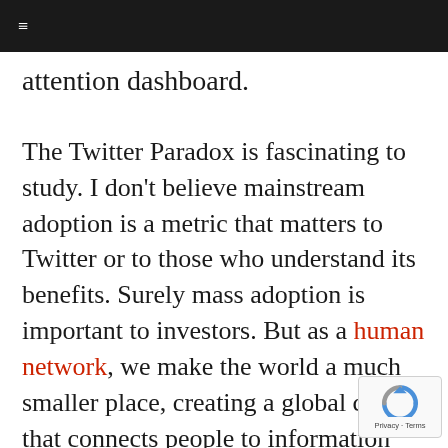≡
attention dashboard.
The Twitter Paradox is fascinating to study. I don't believe mainstream adoption is a metric that matters to Twitter or to those who understand its benefits. Surely mass adoption is important to investors. But as a human network, we make the world a much smaller place, creating a global culture that connects people to information and events as they happen. And, through a stroke of fate or democratized serendipity, people effect how information travels and how events unfold. But at a minimum, Twitter has become an infinite well of incredible insight intelligence and for that, it is already an indispensable service to businesses, governments,